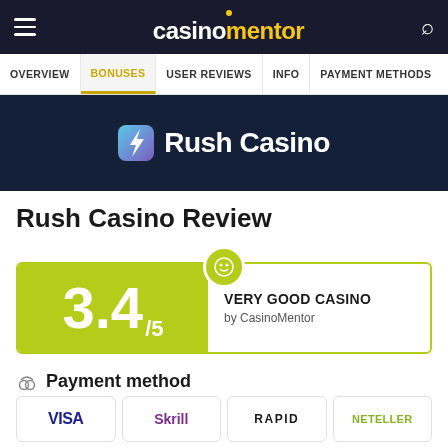casinomentor — OVERVIEW | BONUSES | USER REVIEWS | INFO | PAYMENT METHODS
[Figure (logo): Rush Casino logo on dark navy background with lightning bolt icon]
Rush Casino Review
[Figure (infographic): Score card showing 3.4/5 rating with VERY GOOD CASINO by CasinoMentor label]
Payment method
[Figure (infographic): Payment method logos: VISA, Skrill, RAPID, NETELLER and partial second row]